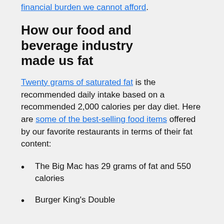financial burden we cannot afford.
How our food and beverage industry made us fat
Twenty grams of saturated fat is the recommended daily intake based on a recommended 2,000 calories per day diet. Here are some of the best-selling food items offered by our favorite restaurants in terms of their fat content:
The Big Mac has 29 grams of fat and 550 calories
Burger King's Double